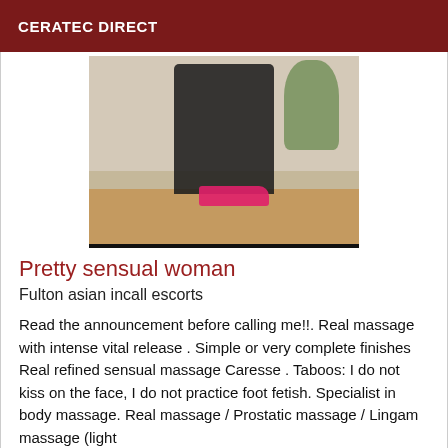CERATEC DIRECT
[Figure (photo): Woman seated on a stool wearing a black skirt and bright pink high heels, with a plant in the background]
Pretty sensual woman
Fulton asian incall escorts
Read the announcement before calling me!!. Real massage with intense vital release . Simple or very complete finishes Real refined sensual massage Caresse . Taboos: I do not kiss on the face, I do not practice foot fetish. Specialist in body massage. Real massage / Prostatic massage / Lingam massage (light